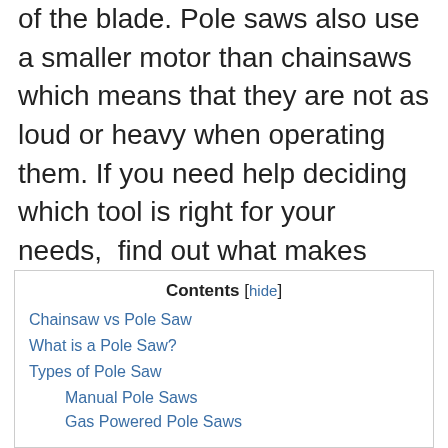of the blade. Pole saws also use a smaller motor than chainsaws which means that they are not as loud or heavy when operating them. If you need help deciding which tool is right for your needs,  find out what makes these two tools unique in this article.
| Contents [hide] |
| Chainsaw vs Pole Saw |
| What is a Pole Saw? |
| Types of Pole Saw |
| Manual Pole Saws |
| Gas Powered Pole Saws |